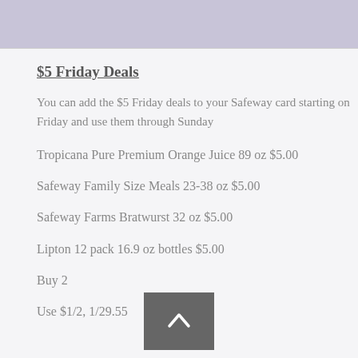≡
$5 Friday Deals
You can add the $5 Friday deals to your Safeway card starting on Friday and use them through Sunday
Tropicana Pure Premium Orange Juice 89 oz $5.00
Safeway Family Size Meals 23-38 oz $5.00
Safeway Farms Bratwurst 32 oz $5.00
Lipton 12 pack 16.9 oz bottles $5.00
Buy 2
Use $1/2, 1/29.55